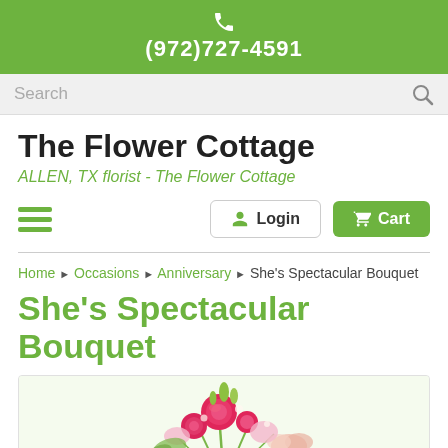(972)727-4591
Search
The Flower Cottage
ALLEN, TX florist - The Flower Cottage
Login  Cart
Home > Occasions > Anniversary > She's Spectacular Bouquet
She's Spectacular Bouquet
[Figure (photo): Floral bouquet with pink roses and light pink lilies, shown from above against a light green/white background]